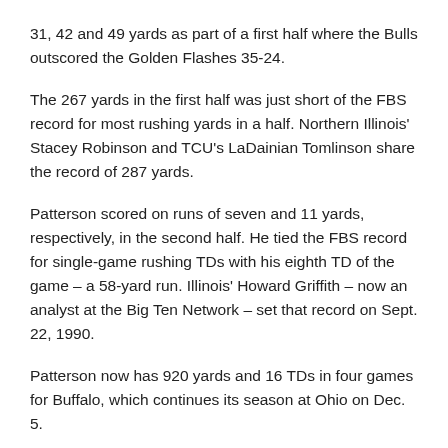31, 42 and 49 yards as part of a first half where the Bulls outscored the Golden Flashes 35-24.
The 267 yards in the first half was just short of the FBS record for most rushing yards in a half. Northern Illinois' Stacey Robinson and TCU's LaDainian Tomlinson share the record of 287 yards.
Patterson scored on runs of seven and 11 yards, respectively, in the second half. He tied the FBS record for single-game rushing TDs with his eighth TD of the game – a 58-yard run. Illinois' Howard Griffith – now an analyst at the Big Ten Network – set that record on Sept. 22, 1990.
Patterson now has 920 yards and 16 TDs in four games for Buffalo, which continues its season at Ohio on Dec. 5.
Source